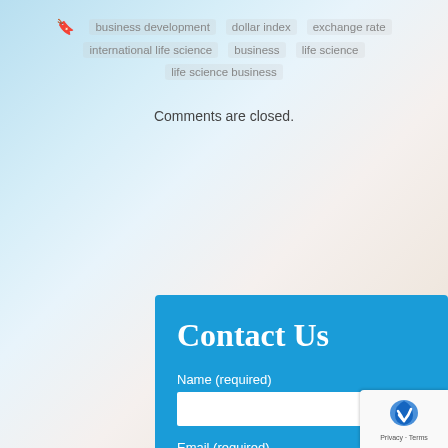business development · dollar index · exchange rate · international life science business · life science · life science business
Comments are closed.
Contact Us
Name (required)
Email (required)
Phone
Message (required)